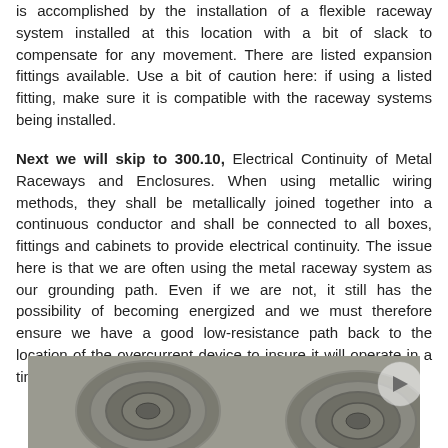is accomplished by the installation of a flexible raceway system installed at this location with a bit of slack to compensate for any movement. There are listed expansion fittings available. Use a bit of caution here: if using a listed fitting, make sure it is compatible with the raceway systems being installed.
Next we will skip to 300.10, Electrical Continuity of Metal Raceways and Enclosures. When using metallic wiring methods, they shall be metallically joined together into a continuous conductor and shall be connected to all boxes, fittings and cabinets to provide electrical continuity. The issue here is that we are often using the metal raceway system as our grounding path. Even if we are not, it still has the possibility of becoming energized and we must therefore ensure we have a good low-resistance path back to the location of the overcurrent device to insure it will operate in a timely fashion if needed.
[Figure (photo): Close-up photograph of metallic electrical knockout knockouts on an electrical enclosure or box, showing circular embossed rings on a metal surface.]